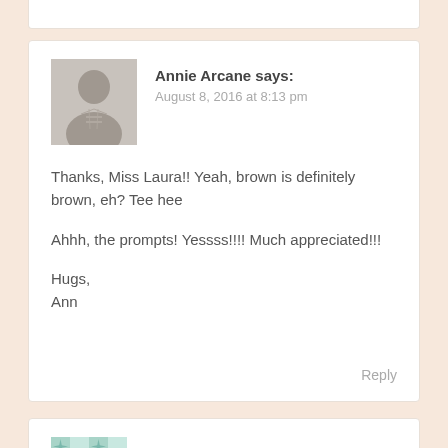Annie Arcane says: August 8, 2016 at 8:13 pm
Thanks, Miss Laura!! Yeah, brown is definitely brown, eh? Tee hee
Ahhh, the prompts! Yessss!!!! Much appreciated!!!
Hugs,
Ann
Reply
sc says: August 8, 2016 at 2:40 pm